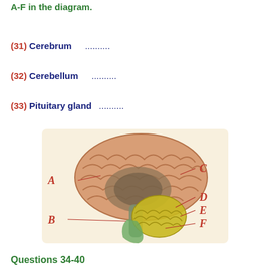A-F in the diagram.
(31) Cerebrum ..........
(32) Cerebellum ..........
(33) Pituitary gland ..........
[Figure (illustration): Cross-sectional diagram of the human brain showing labeled parts A through F. Labels A and B are on the left side, labels C, D, E, F are on the right side. The brain shows cerebrum (large, pink, folded), cerebellum (yellow), brainstem (green/gray), and other internal structures. Lines point from the labels to different regions.]
Questions 34-40